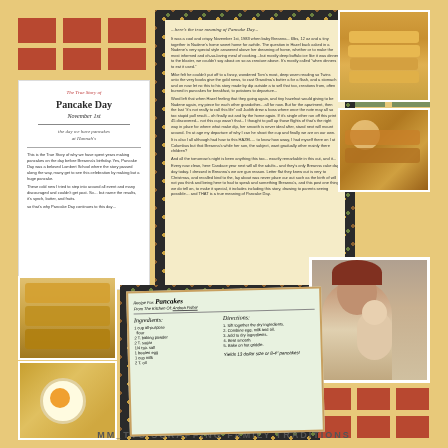[Figure (photo): Scrapbook layout about Pancake Day featuring photos of pancakes, a recipe card, a journaling card, and a family photo with a newborn baby. Decorated with polka dot paper and colored square embellishments.]
The True Story of Pancake Day - journaling text about Pancake Day tradition, November 1st, the day we have pancakes at Hannah's
Here's the true meaning of Pancake Day - narrative text about the family tradition
Recipe For: Pancakes
From The Kitchen Of: Andrea Fisher
Ingredients:
1 cup all-purpose flour
2 T. baking powder
2 T. sugar
1/4 tsp. salt
1 beaten egg
1 cup milk
2 T. oil
Directions:
1. Sift together the dry ingredients.
2. Combine egg, milk and oil.
3. Add to dry ingredients.
4. Beat smooth.
5. Bake on hot griddle.
Yields 13 dollar size or 8-4" pancakes!
MM_TYS SCRAPPING FAMILY TRADITIONS